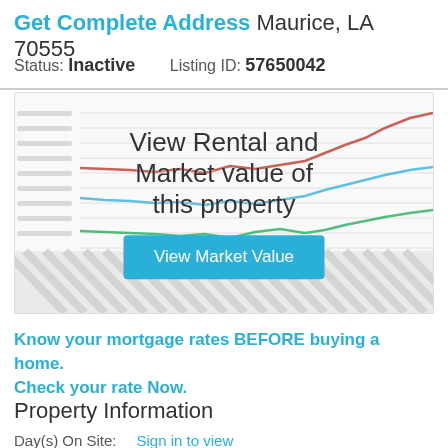Get Complete Address Maurice, LA 70555
Status: Inactive    Listing ID: 57650042
[Figure (screenshot): A blurred line chart showing rental and market value trends with three lines (red, blue, green). An overlay reads 'View Rental and Market value of this property' with a teal 'View Market Value' button. The bottom of the chart shows a hatched/striped pattern indicating locked/blurred data.]
Know your mortgage rates BEFORE buying a home. Check your rate Now.
Property Information
Day(s) On Site:    Sign in to view